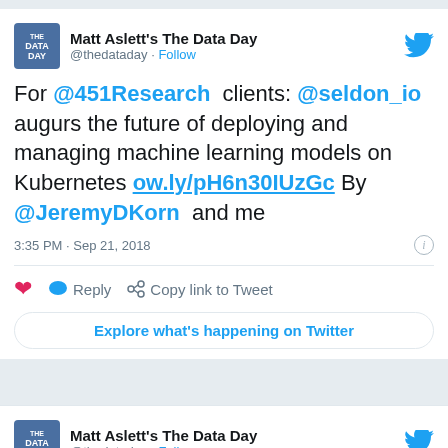[Figure (screenshot): Twitter/social media screenshot showing tweet from Matt Aslett's The Data Day (@thedataday)]
Matt Aslett's The Data Day @thedataday · Follow
For @451Research clients: @seldon_io augurs the future of deploying and managing machine learning models on Kubernetes ow.ly/pH6n30IUzGc By @JeremyDKorn and me
3:35 PM · Sep 21, 2018
Reply   Copy link to Tweet
Explore what's happening on Twitter
Matt Aslett's The Data Day @thedataday · Follow